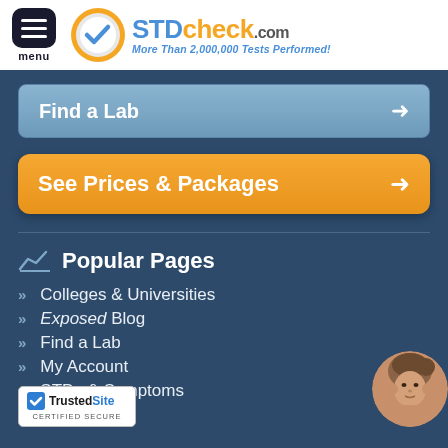STDcheck.com — More Than 2,000,000 Tests Performed!
Find a Lab
See Prices & Packages
Popular Pages
Colleges & Universities
Exposed Blog
Find a Lab
My Account
STDs & Symptoms
otifications
[Figure (logo): TrustedSite Certified Secure badge]
[Figure (photo): Woman headshot avatar in bottom right corner]